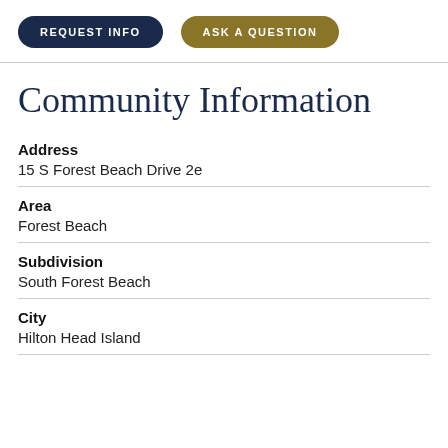REQUEST INFO
ASK A QUESTION
Community Information
Address
15 S Forest Beach Drive 2e
Area
Forest Beach
Subdivision
South Forest Beach
City
Hilton Head Island